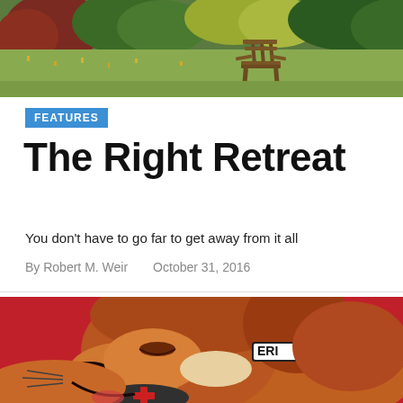[Figure (photo): Scenic outdoor photo of a green meadow with colorful autumn foliage trees in the background and a wooden Adirondack chair in the center]
FEATURES
The Right Retreat
You don't have to go far to get away from it all
By Robert M. Weir   October 31, 2016
[Figure (photo): Close-up photo of a golden/red long-haired dog resting its head, wearing a collar with text partially visible reading 'ERI', with a red background (truck bed)]